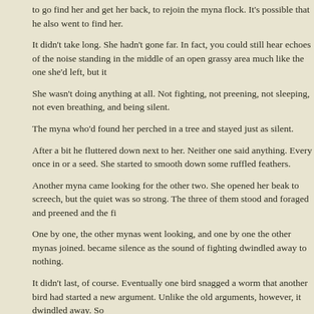to go find her and get her back, to rejoin the myna flock. It's possible that he also went to find her.
It didn't take long. She hadn't gone far. In fact, you could still hear echoes of the noise standing in the middle of an open grassy area much like the one she'd left, but it
She wasn't doing anything at all. Not fighting, not preening, not sleeping, not even breathing, and being silent.
The myna who'd found her perched in a tree and stayed just as silent.
After a bit he fluttered down next to her. Neither one said anything. Every once in or a seed. She started to smooth down some ruffled feathers.
Another myna came looking for the other two. She opened her beak to screech, but the quiet was so strong. The three of them stood and foraged and preened and the fi
One by one, the other mynas went looking, and one by one the other mynas joined. became silence as the sound of fighting dwindled away to nothing.
It didn't last, of course. Eventually one bird snagged a worm that another bird had started a new argument. Unlike the old arguments, however, it dwindled away. So
The mynas had learned the value of quiet, of silence, of companionship, and of rest. see them today quietly foraging in the grasses together, even just before, or even argument breaks the silence.
It's hard to resist the contrast between two figures in this story: Jesus on the one